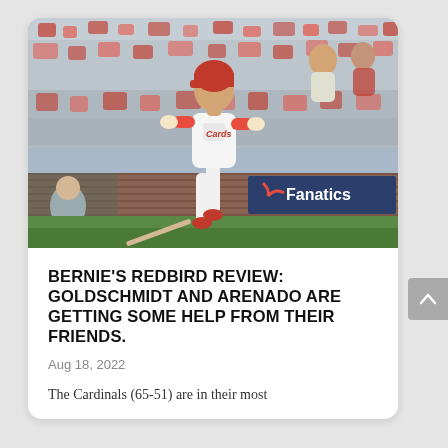[Figure (photo): St. Louis Cardinals baseball player in white uniform and red helmet running on the field after hitting, with a packed crowd in the background. A 'Fanatics' advertisement sign is visible on the outfield wall.]
BERNIE'S REDBIRD REVIEW: GOLDSCHMIDT AND ARENADO ARE GETTING SOME HELP FROM THEIR FRIENDS.
Aug 18, 2022
The Cardinals (65-51) are in their most